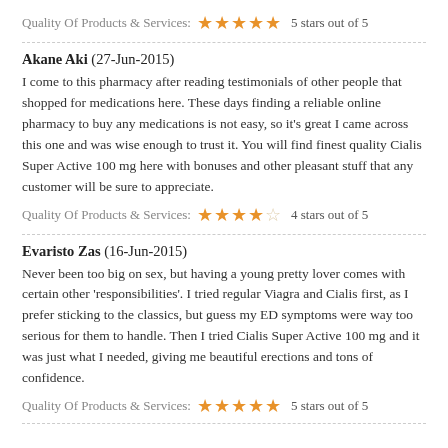Quality Of Products & Services: 5 stars out of 5
Akane Aki (27-Jun-2015)
I come to this pharmacy after reading testimonials of other people that shopped for medications here. These days finding a reliable online pharmacy to buy any medications is not easy, so it's great I came across this one and was wise enough to trust it. You will find finest quality Cialis Super Active 100 mg here with bonuses and other pleasant stuff that any customer will be sure to appreciate.
Quality Of Products & Services: 4 stars out of 5
Evaristo Zas (16-Jun-2015)
Never been too big on sex, but having a young pretty lover comes with certain other 'responsibilities'. I tried regular Viagra and Cialis first, as I prefer sticking to the classics, but guess my ED symptoms were way too serious for them to handle. Then I tried Cialis Super Active 100 mg and it was just what I needed, giving me beautiful erections and tons of confidence.
Quality Of Products & Services: 5 stars out of 5